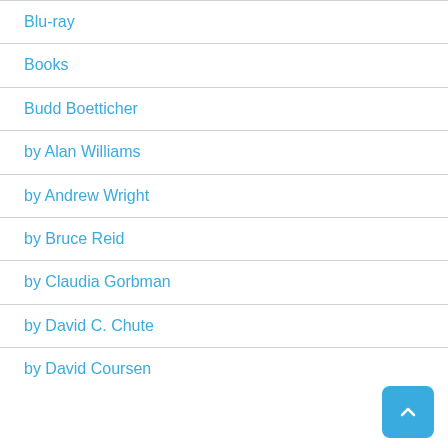Blu-ray
Books
Budd Boetticher
by Alan Williams
by Andrew Wright
by Bruce Reid
by Claudia Gorbman
by David C. Chute
by David Coursen